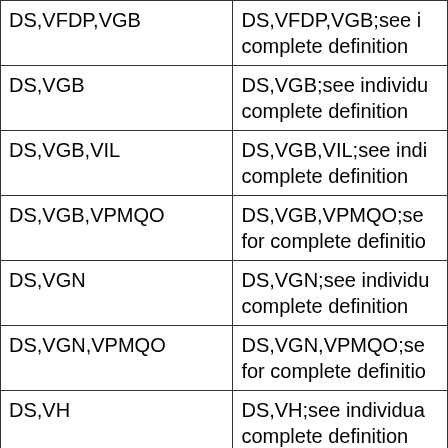| DS,VFDP,VGB | DS,VFDP,VGB;see i... complete definition |
| DS,VGB | DS,VGB;see individu... complete definition |
| DS,VGB,VIL | DS,VGB,VIL;see indi... complete definition |
| DS,VGB,VPMQO | DS,VGB,VPMQO;se... for complete definitio... |
| DS,VGN | DS,VGN;see individu... complete definition |
| DS,VGN,VPMQO | DS,VGN,VPMQO;se... for complete definitio... |
| DS,VH | DS,VH;see individua... complete definition |
| DS,VIL | DS,VIL;see individua... complete definition |
| DS,VIL,VPMQO | DS,VIL,VPMQO;see... for complete definitio... |
| DS,VIP | DS,VIP;see individua... complete definition |
| DS,VJ,VNBC | DS,VJ,VNBC;see inc... complete definition |